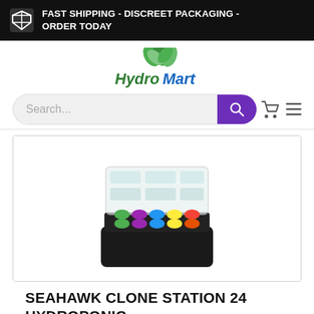FAST SHIPPING - DISCREET PACKAGING - ORDER TODAY
[Figure (logo): HydroMart logo with green mint leaves above green and blue italic text reading HydroMart]
[Figure (screenshot): Search bar with placeholder text 'Search...' and purple search button with magnifying glass icon, plus cart icon area]
[Figure (photo): Seahawk Clone Station 24 hydroponic cloning machine with black base and colorful clone collars in green, purple, blue, yellow, red, and orange rows under clear lid]
SEAHAWK CLONE STATION 24 HYDROPONIC